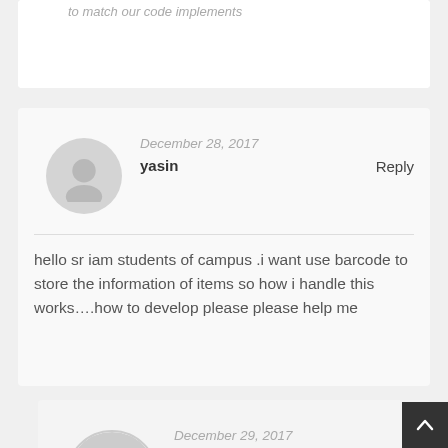to match our code implements
December 28, 2017
yasin
Reply
hello sr iam students of campus .i want use barcode to store the information of items so how i handle this works….how to develop please please help me
December 29, 2017
Rajinder Deol
Reply